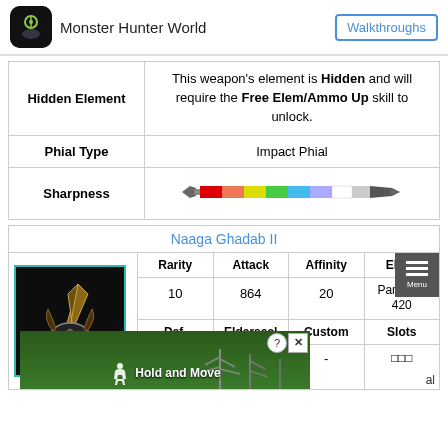Monster Hunter World  Walkthroughs
|  |  |
| --- | --- |
| Hidden Element | This weapon's element is Hidden and will require the Free Elem/Ammo Up skill to unlock. |
| Phial Type | Impact Phial |
| Sharpness | [sharpness bar image] |
| Naaga Ghadab II |  |
| --- | --- |
| Rarity | Attack | Affinity | Elem. |
| 10 | 864 | 20 | Paralysis 420 |
| Def. | Elderseal | Custom | Slots |
| - |  | - | □□□ |